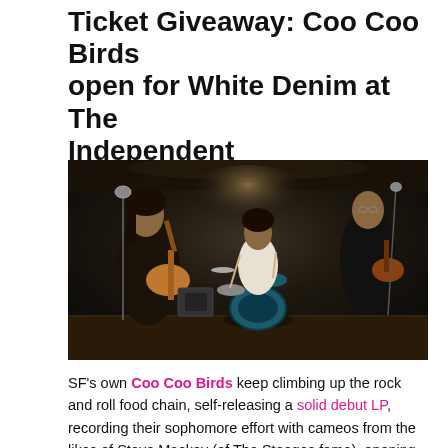Ticket Giveaway: Coo Coo Birds open for White Denim at The Independent
[Figure (photo): Black and white photo of a three-piece rock band performing in a dimly lit room. Left: a man with long hair playing electric guitar and singing into a vintage microphone. Center: a drummer with curly hair in a white shirt behind a drum kit. Right: a guitarist in dark clothing playing guitar. Dark atmospheric lighting with ornate ceiling and patterned carpet visible.]
SF's own Coo Coo Birds keep climbing up the rock and roll food chain, self-releasing a solid debut LP, recording their sophomore effort with cameos from the likes of Steve Mackay (of The Stooges fame), opening for Jonathan Richman at Great American, staging a raucous